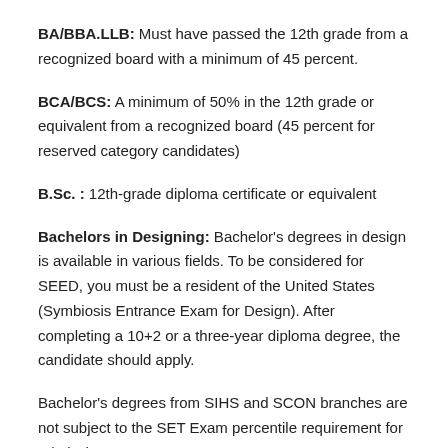BA/BBA.LLB: Must have passed the 12th grade from a recognized board with a minimum of 45 percent.
BCA/BCS: A minimum of 50% in the 12th grade or equivalent from a recognized board (45 percent for reserved category candidates)
B.Sc. : 12th-grade diploma certificate or equivalent
Bachelors in Designing: Bachelor's degrees in design is available in various fields. To be considered for SEED, you must be a resident of the United States (Symbiosis Entrance Exam for Design). After completing a 10+2 or a three-year diploma degree, the candidate should apply.
Bachelor's degrees from SIHS and SCON branches are not subject to the SET Exam percentile requirement for admission.
Note: Admission to any of the eight Symbiosis branches in